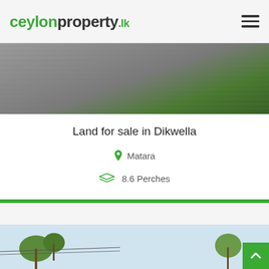ceylonproperty.lk
[Figure (photo): Aerial or ground-level photo of a paved road with green vegetation/shrubs on the right side]
Land for sale in Dikwella
Matara
8.6 Perches
187,000LKR
[Figure (photo): Partial view of a second property listing image showing palm trees and sky]